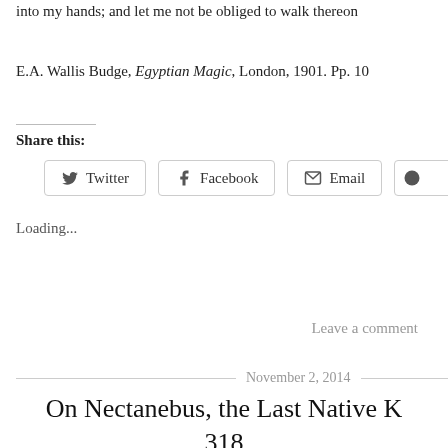into my hands; and let me not be obliged to walk thereon
E.A. Wallis Budge, Egyptian Magic, London, 1901. Pp. 10
Share this:
Twitter  Facebook  Email
Loading...
Leave a comment
November 2, 2014
On Nectanebus, the Last Native K 318